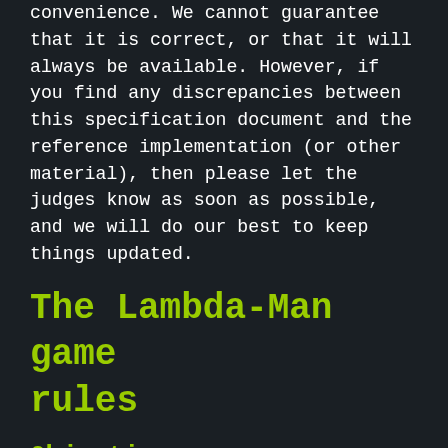convenience. We cannot guarantee that it is correct, or that it will always be available. However, if you find any discrepancies between this specification document and the reference implementation (or other material), then please let the judges know as soon as possible, and we will do our best to keep things updated.
The Lambda-Man game rules
Objectives
A Lambda-Man lives in a two-dimensional maze made up of walls, and must eat as many pills as he can, while avoiding the